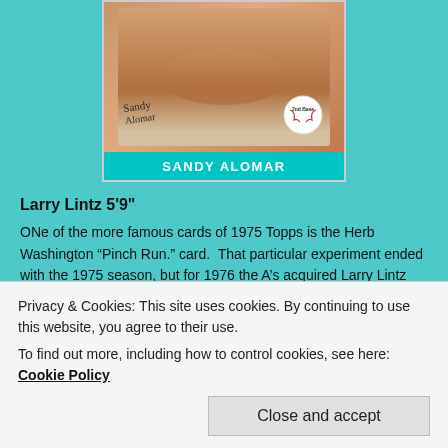[Figure (photo): 1975 Topps baseball card showing Sandy Alomar, 2nd Base, with his signature and a baseball graphic badge on the card front.]
Larry Lintz 5'9"
ONe of the more famous cards of 1975 Topps is the Herb Washington “Pinch Run.” card.  That particular experiment ended with the 1975 season, but for 1976 the A’s acquired Larry Lintz and used him in a similar way:  he appeared in 68 games, scored 21 runs and stole 31 bases despite just 4 plate appearances.
Privacy & Cookies: This site uses cookies. By continuing to use this website, you agree to their use.
To find out more, including how to control cookies, see here: Cookie Policy